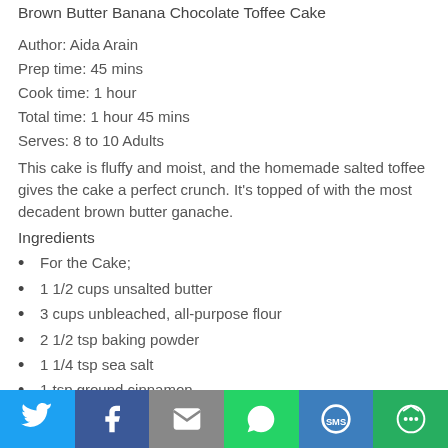Brown Butter Banana Chocolate Toffee Cake (partial)
Author: Aida Arain
Prep time: 45 mins
Cook time: 1 hour
Total time: 1 hour 45 mins
Serves: 8 to 10 Adults
This cake is fluffy and moist, and the homemade salted toffee gives the cake a perfect crunch. It's topped of with the most decadent brown butter ganache.
Ingredients
For the Cake;
1 1/2 cups unsalted butter
3 cups unbleached, all-purpose flour
2 1/2 tsp baking powder
1 1/4 tsp sea salt
1 tsp ground cinnamon
3/4 tsp baking soda (partial)
Social sharing bar: Twitter, Facebook, Email, WhatsApp, SMS, More